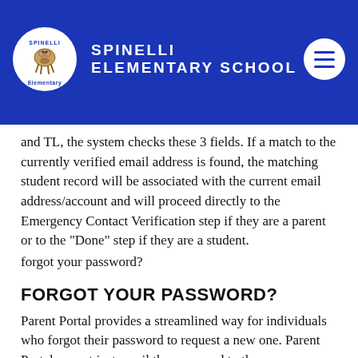SPINELLI ELEMENTARY SCHOOL
and TL, the system checks these 3 fields. If a match to the currently verified email address is found, the matching student record will be associated with the current email address/account and will proceed directly to the Emergency Contact Verification step if they are a parent or to the "Done" step if they are a student.
forgot your password?
FORGOT YOUR PASSWORD?
Parent Portal provides a streamlined way for individuals who forgot their password to request a new one. Parent Portal cannot just email the password to the person because all passwords in the system are encrypted with 256-bit hash